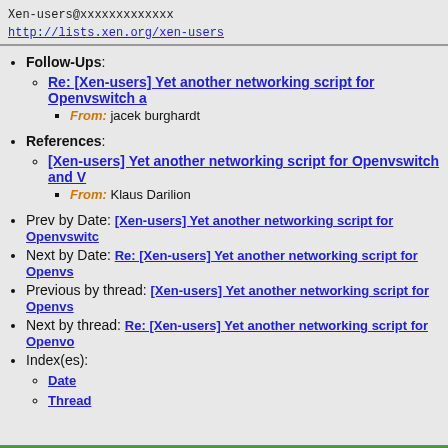Xen-users@xxxxxxxxxxxxx
http://lists.xen.org/xen-users
Follow-Ups: Re: [Xen-users] Yet another networking script for Openvswitch a... From: jacek burghardt
References: [Xen-users] Yet another networking script for Openvswitch and V... From: Klaus Darilion
Prev by Date: [Xen-users] Yet another networking script for Openvswitc...
Next by Date: Re: [Xen-users] Yet another networking script for Openvs...
Previous by thread: [Xen-users] Yet another networking script for Openvs...
Next by thread: Re: [Xen-users] Yet another networking script for Openvo...
Index(es): Date, Thread
©2013 Xen Project, A Linux Foundation Collaborative Project. All Rights Reserved. Linux Foundation is a registered trademark of The Linux Foundation. Xen Project is a trademark of The Linux Foundation.